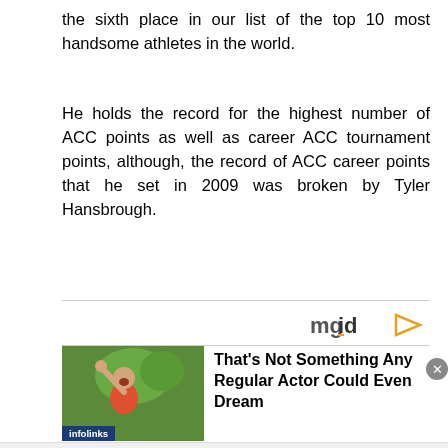the sixth place in our list of the top 10 most handsome athletes in the world.
He holds the record for the highest number of ACC points as well as career ACC tournament points, although, the record of ACC career points that he set in 2009 was broken by Tyler Hansbrough.
[Figure (other): mgid advertisement logo with orange arrow]
[Figure (photo): Ad block showing a man with raised hand outdoors, labeled infolinks, with headline: That’s Not Something Any Regular Actor Could Even Dream]
In-store shopping